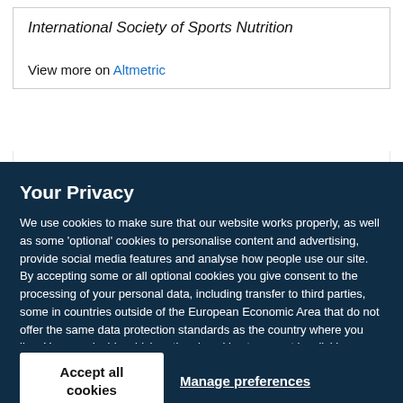International Society of Sports Nutrition
View more on Altmetric
Your Privacy
We use cookies to make sure that our website works properly, as well as some 'optional' cookies to personalise content and advertising, provide social media features and analyse how people use our site. By accepting some or all optional cookies you give consent to the processing of your personal data, including transfer to third parties, some in countries outside of the European Economic Area that do not offer the same data protection standards as the country where you live. You can decide which optional cookies to accept by clicking on 'Manage Settings', where you can also find more information about how your personal data is processed. Further information can be found in our privacy policy.
Accept all cookies
Manage preferences